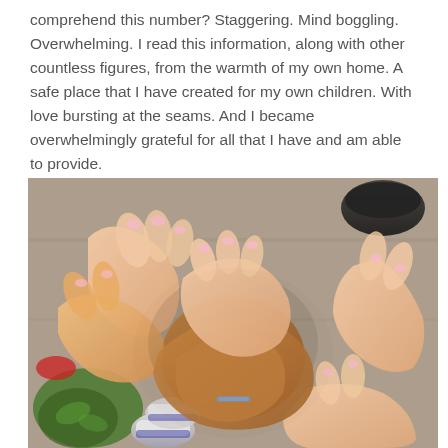comprehend this number? Staggering. Mind boggling. Overwhelming. I read this information, along with other countless figures, from the warmth of my own home. A safe place that I have created for my own children. With love bursting at the seams. And I became overwhelmingly grateful for all that I have and am able to provide.
[Figure (photo): A group of children's hands of different skin tones stacked together in a pile, viewed from above, symbolizing unity and togetherness. Visible in the background are sneakers and colorful clothing on the ground.]